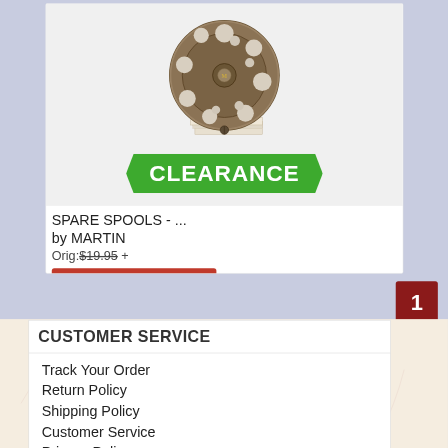[Figure (photo): Fly fishing reel (spare spool) by Martin brand, bronze/brown colored, with circular holes pattern, sitting on a box/packaging. A green 'CLEARANCE' banner overlays the bottom of the image.]
SPARE SPOOLS - ...
by MARTIN
Orig: $19.95 +
View Details - $14.95
1
CUSTOMER SERVICE
Track Your Order
Return Policy
Shipping Policy
Customer Service
Privacy Policy